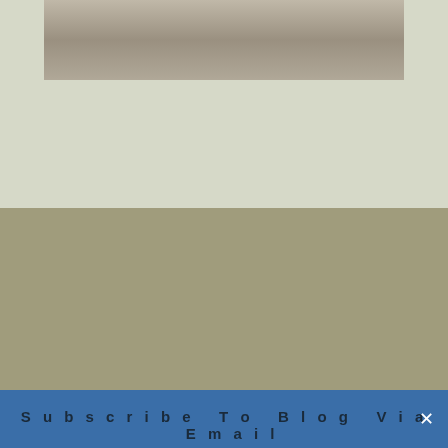[Figure (photo): Partial photo of furniture/desk area at top of page, cropped]
[Figure (infographic): Social media icons row: Facebook, Twitter, Blogger, Instagram, followed by T&C and Cart navigation buttons]
Subscribe To Blog Via Email
Enter your email address to subscribe to this blog and receive notifications of new posts by email.
Join 15 other subscribers.
Email Address  Subscribe